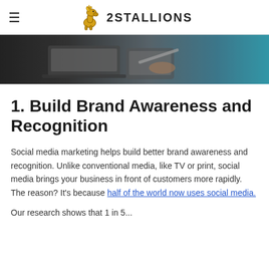≡  2STALLIONS
[Figure (photo): A person working on a laptop and tablet device on a dark desk, seen from above at an angle. Blue tones on the right side.]
1. Build Brand Awareness and Recognition
Social media marketing helps build better brand awareness and recognition. Unlike conventional media, like TV or print, social media brings your business in front of customers more rapidly. The reason? It's because half of the world now uses social media.
Our research shows that 1 in 5...